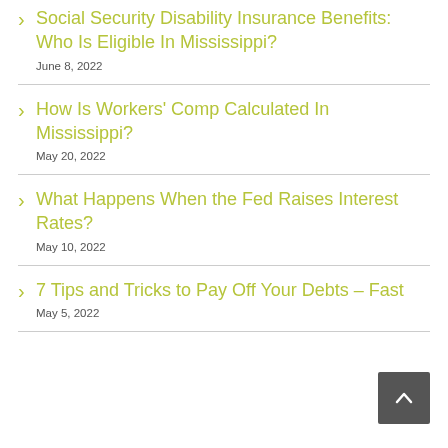Social Security Disability Insurance Benefits: Who Is Eligible In Mississippi?
June 8, 2022
How Is Workers' Comp Calculated In Mississippi?
May 20, 2022
What Happens When the Fed Raises Interest Rates?
May 10, 2022
7 Tips and Tricks to Pay Off Your Debts – Fast
May 5, 2022